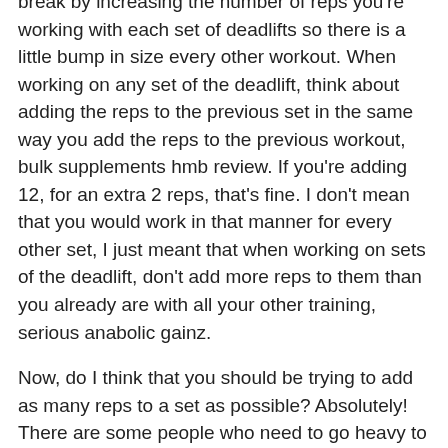break by increasing the number of reps you're working with each set of deadlifts so there is a little bump in size every other workout. When working on any set of the deadlift, think about adding the reps to the previous set in the same way you add the reps to the previous workout, bulk supplements hmb review. If you're adding 12, for an extra 2 reps, that's fine. I don't mean that you would work in that manner for every other set, I just meant that when working on sets of the deadlift, don't add more reps to them than you already are with all your other training, serious anabolic gainz.
Now, do I think that you should be trying to add as many reps to a set as possible? Absolutely! There are some people who need to go heavy to build muscle, bulking putting on fat. Those people could definitely benefit from having a little extra help working